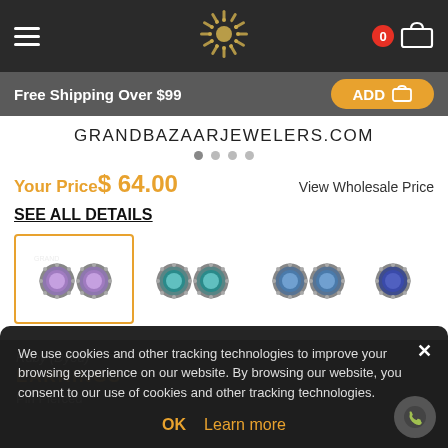Grand Bazaar Jewelers navigation bar with hamburger menu, logo, cart (0)
Free Shipping Over $99
ADD
GRANDBAZAARJEWELERS.COM
Your Price$ 64.00
View Wholesale Price
SEE ALL DETAILS
[Figure (photo): Four pairs of round gemstone stud earrings with pave halo settings: amethyst/purple (selected), teal/emerald, blue-green, and sapphire blue variants]
Ruby (Dyed)
EARRINGS
Pin Pierced
We use cookies and other tracking technologies to improve your browsing experience on our website. By browsing our website, you consent to our use of cookies and other tracking technologies.
OK
Learn more